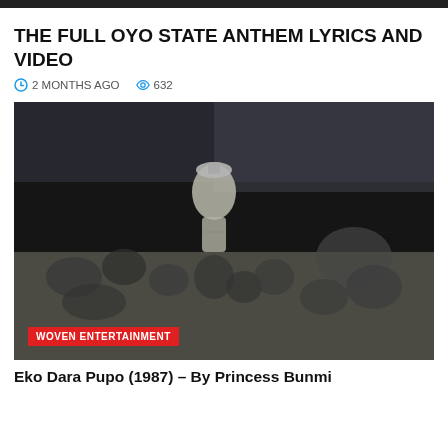THE FULL OYO STATE ANTHEM LYRICS AND VIDEO
2 MONTHS AGO  632
[Figure (photo): Black and white vintage photograph showing a group of people sitting and crouching outdoors, possibly in a village or rural setting. A person in white clothing is visible in the center background. Watermark reads WOVEN ENTERTAINMENT.]
Eko Dara Pupo (1987) – By Princess Bunmi